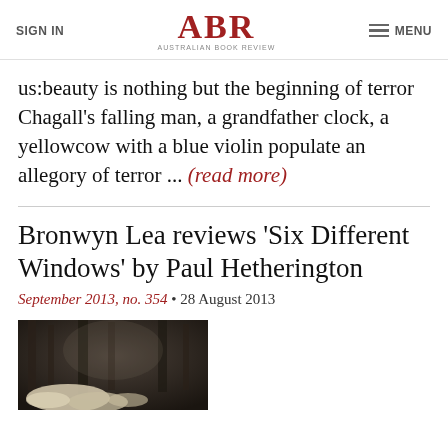SIGN IN | ABR Australian Book Review | MENU
us:beauty is nothing but the beginning of terror Chagall's falling man, a grandfather clock, a yellowcow with a blue violin populate an allegory of terror ... (read more)
Bronwyn Lea reviews 'Six Different Windows' by Paul Hetherington
September 2013, no. 354 • 28 August 2013
[Figure (photo): Dark atmospheric photograph of foliage and trees with misty or shadowy background, sepia/dark tones]